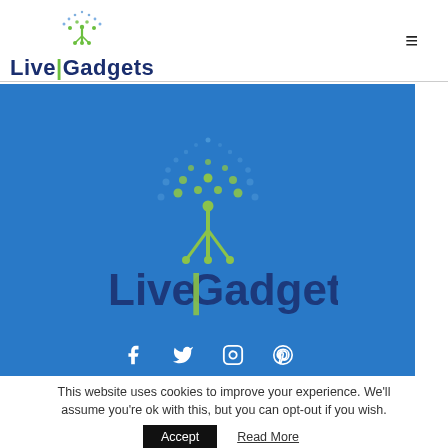LiveGadgets
[Figure (logo): LiveGadgets logo on blue background banner with tree/circuit icon and social media icons (Facebook, Twitter, Instagram, Pinterest) at the bottom]
This website uses cookies to improve your experience. We'll assume you're ok with this, but you can opt-out if you wish.
Accept  Read More